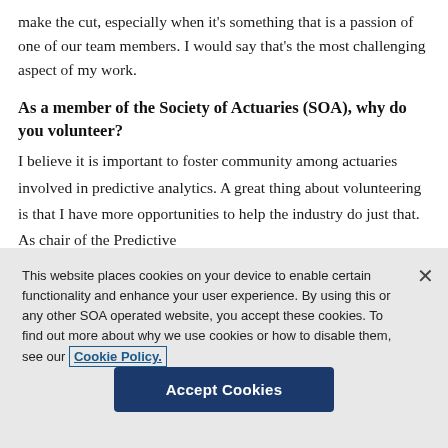make the cut, especially when it's something that is a passion of one of our team members. I would say that's the most challenging aspect of my work.
As a member of the Society of Actuaries (SOA), why do you volunteer?
I believe it is important to foster community among actuaries involved in predictive analytics. A great thing about volunteering is that I have more opportunities to help the industry do just that. As chair of the Predictive
This website places cookies on your device to enable certain functionality and enhance your user experience. By using this or any other SOA operated website, you accept these cookies. To find out more about why we use cookies or how to disable them, see our Cookie Policy.
Accept Cookies